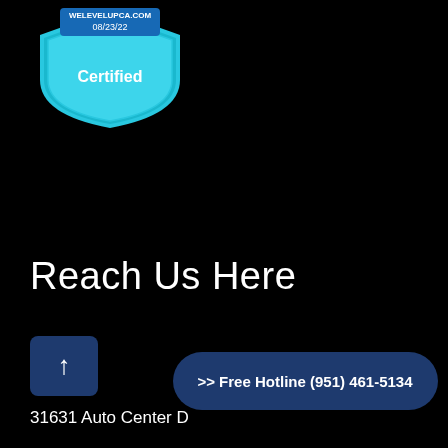[Figure (logo): Teal/cyan shield-shaped certification badge with text 'WELEVELUPCA.COM', '08/23/22', and 'Certified' on a black background]
Reach Us Here
[Figure (other): Dark blue rounded square button with white upward arrow icon]
31631 Auto Center D
[Figure (other): Dark blue rounded pill-shaped button with white text '>> Free Hotline (951) 461-5134']